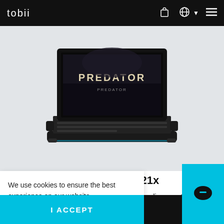tobii
[Figure (photo): Acer Predator 21x gaming laptop with curved screen showing 'PREDATOR' text on display, viewed from slightly above, with keyboard visible, on a light gray background.]
Acer Predator 21x
Guide your legend beyond the horizon to discover the world of curve. A world that bends, pulls you in, and never lets go.
We use cookies to ensure the best experience on our website.
Privacy Policy
I ACCEPT